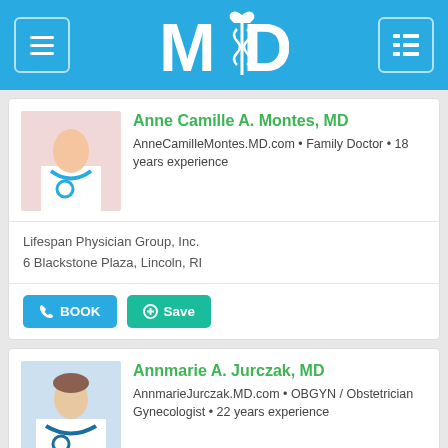MD
Anne Camille A. Montes, MD
AnneCamilleMontes.MD.com • Family Doctor • 18 years experience
Lifespan Physician Group, Inc.
6 Blackstone Plaza, Lincoln, RI
Annmarie A. Jurczak, MD
AnnmarieJurczak.MD.com • OBGYN / Obstetrician Gynecologist • 22 years experience
Lifespan Physician Group, Inc.
1 Commerce Street, Lincoln, RI 02865